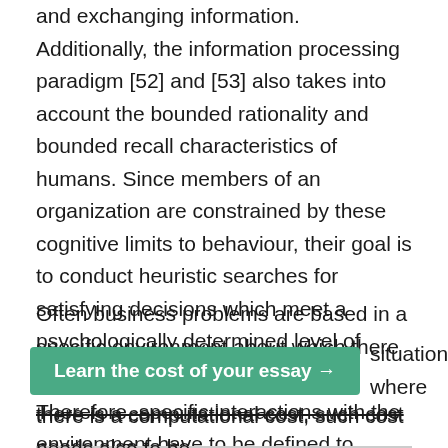and exchanging information. Additionally, the information processing paradigm [52] and [53] also takes into account the bounded rationality and bounded recall characteristics of humans. Since members of an organization are constrained by these cognitive limits to behaviour, their goal is to conduct heuristic searches for satisfying decisions which meet a psychologically determined level of aspiration.
Often business problems are based in a specific environment about which there is a lack of complete information. Therefore, specific interactions with the environment have to be defined to explore and acquire additional information. Each of the information-gathering activities, however, has a cost associated with it.
[Figure (other): Green banner button with text 'Learn the cost of your essay →' overlapping the page content, partially covering text below it]
situations where there is a computational cost, such cost needs also to be